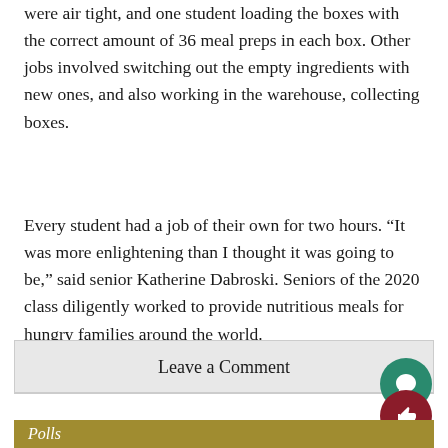were air tight, and one student loading the boxes with the correct amount of 36 meal preps in each box. Other jobs involved switching out the empty ingredients with new ones, and also working in the warehouse, collecting boxes.
Every student had a job of their own for two hours. “It was more enlightening than I thought it was going to be,” said senior Katherine Dabroski. Seniors of the 2020 class diligently worked to provide nutritious meals for hungry families around the world.
Leave a Comment
Polls